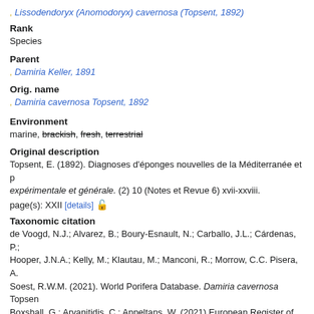Lissodendoryx (Anomodoryx) cavernosa (Topsent, 1892)
Rank
Species
Parent
Damiria Keller, 1891
Orig. name
Damiria cavernosa Topsent, 1892
Environment
marine, brackish, fresh, terrestrial
Original description
Topsent, E. (1892). Diagnoses d'éponges nouvelles de la Méditerranée et p expérimentale et générale. (2) 10 (Notes et Revue 6) xvii-xxviii. page(s): XXII [details]
Taxonomic citation
de Voogd, N.J.; Alvarez, B.; Boury-Esnault, N.; Carballo, J.L.; Cárdenas, P.; Hooper, J.N.A.; Kelly, M.; Klautau, M.; Manconi, R.; Morrow, C.C. Pisera, A. Soest, R.W.M. (2021). World Porifera Database. Damiria cavernosa Topsen Boxshall, G.; Arvanitidis, C.; Appeltans, W. (2021) European Register of Ma p=taxdetails&id=133856 on 2022-09-02
Regional species database citation
Costello, M.J.; Bouchet, P.; Boxshall, G.; Arvanitidis, C.; Appeltans, W. (202 cavernosa Topsent, 1892. Accessed at: https://vliz.be/vmdcdata/narms/nam
Taxonomic edit history